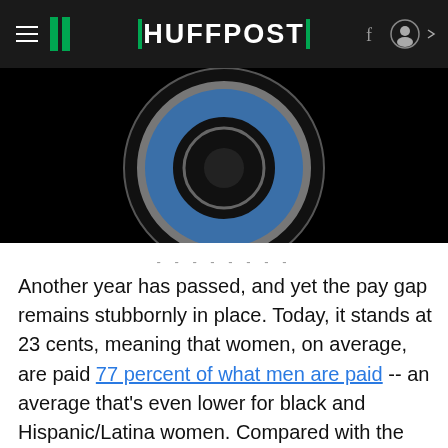HUFFPOST
[Figure (photo): Dark background with circular graphic element (blue/grey circular shape visible at top), with a chevron/caret symbol pointing upward]
--------
Another year has passed, and yet the pay gap remains stubbornly in place. Today, it stands at 23 cents, meaning that women, on average, are paid 77 percent of what men are paid -- an average that's even lower for black and Hispanic/Latina women. Compared with the salaries of white male workers, Asian women's salaries show the smallest gender pay gap, at 88